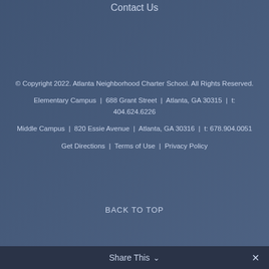Contact Us
© Copyright 2022. Atlanta Neighborhood Charter School. All Rights Reserved.
Elementary Campus  |  688 Grant Street  |  Atlanta, GA 30315  |  t: 404.624.6226
Middle Campus  |  820 Essie Avenue  |  Atlanta, GA 30316  |  t: 678.904.0051
Get Directions  |  Terms of Use  |  Privacy Policy
BACK TO TOP
Share This  ∨  ✕